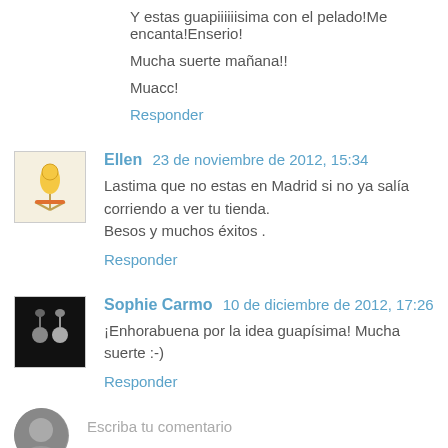Y estas guapiiiiiisima con el pelado!Me encanta!Enserio!
Mucha suerte mañana!!
Muacc!
Responder
Ellen  23 de noviembre de 2012, 15:34
Lastima que no estas en Madrid si no ya salía corriendo a ver tu tienda.
Besos y muchos éxitos .
Responder
Sophie Carmo  10 de diciembre de 2012, 17:26
¡Enhorabuena por la idea guapísima! Mucha suerte :-)
Responder
Escriba tu comentario